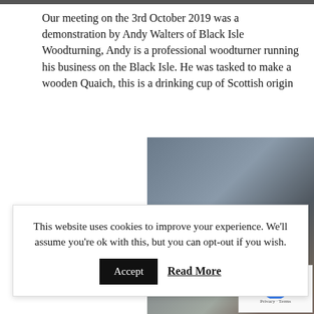[Figure (photo): Partial top image bar at top of page]
Our meeting on the 3rd October 2019 was a demonstration by Andy Walters of Black Isle Woodturning, Andy is a professional woodturner running his business on the Black Isle. He was tasked to make a wooden Quaich, this is a drinking cup of Scottish origin
[Figure (photo): Photo of a man in a dark hoodie wearing a face mask, working at a lathe in a workshop. A blue PPE sign is visible in background.]
This website uses cookies to improve your experience. We'll assume you're ok with this, but you can opt-out if you wish. Accept Read More
[Figure (photo): Photo of a bearded man in a dark jacket, partially visible, with an OFFICE sign in the background.]